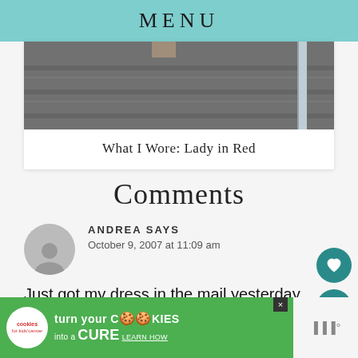MENU
[Figure (photo): Partial view of stone steps with a pipe on the right side, bottom portion of a person standing on steps visible]
What I Wore: Lady in Red
Comments
ANDREA SAYS
October 9, 2007 at 11:09 am
Just got my dress in the mail yesterday, and lo...
[Figure (infographic): Advertisement banner: cookies for kids cancer - turn your COOKIES into a CURE LEARN HOW]